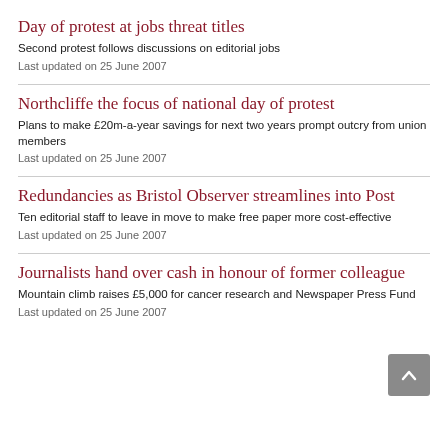Day of protest at jobs threat titles
Second protest follows discussions on editorial jobs
Last updated on 25 June 2007
Northcliffe the focus of national day of protest
Plans to make £20m-a-year savings for next two years prompt outcry from union members
Last updated on 25 June 2007
Redundancies as Bristol Observer streamlines into Post
Ten editorial staff to leave in move to make free paper more cost-effective
Last updated on 25 June 2007
Journalists hand over cash in honour of former colleague
Mountain climb raises £5,000 for cancer research and Newspaper Press Fund
Last updated on 25 June 2007